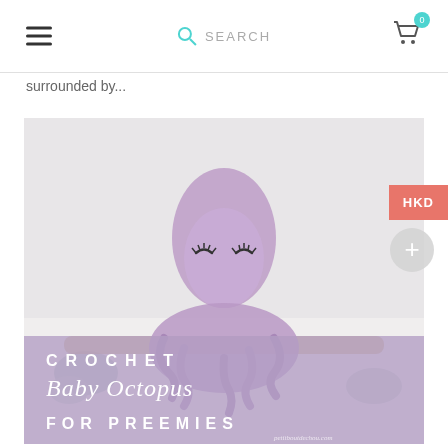≡  SEARCH  🛒 0
surrounded by...
[Figure (photo): Crochet baby octopus toy in lavender/purple color, sitting in front of driftwood and pebbles on a white surface. Overlay text reads: CROCHET Baby Octopus FOR PREEMIES. Watermark: petitboutdechou.com]
HKD